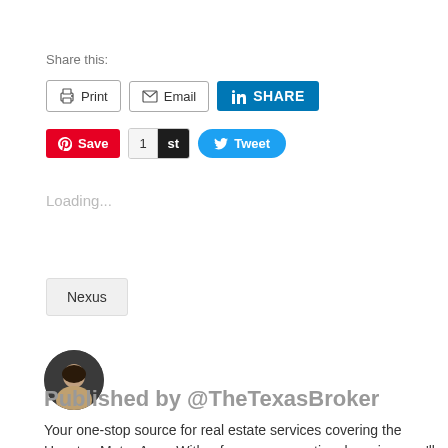Share this:
[Figure (screenshot): Social share buttons row 1: Print, Email, LinkedIn SHARE]
[Figure (screenshot): Social share buttons row 2: Pinterest Save, StumbleUpon 1 st, Tweet]
Loading...
Nexus
[Figure (photo): Circular author avatar photo of a person]
Published by @TheTexasBroker
Your one-stop source for real estate services covering the Houston Metro Area. With a focus on exceptional service, you'll find